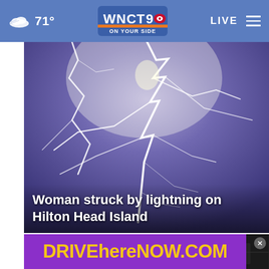71° WNCT 9 ON YOUR SIDE LIVE
[Figure (photo): Lightning strike photograph against a purple-blue stormy sky, showing bright white branching lightning bolts.]
Woman struck by lightning on Hilton Head Island
[Figure (photo): Small thumbnail image on the left showing a person outdoors with trees in background.]
[Figure (photo): Small thumbnail image on the right, dark, with a play button overlay and close X button.]
[Figure (other): Advertisement banner: DRIVEhereNOW.COM in yellow text on purple background.]